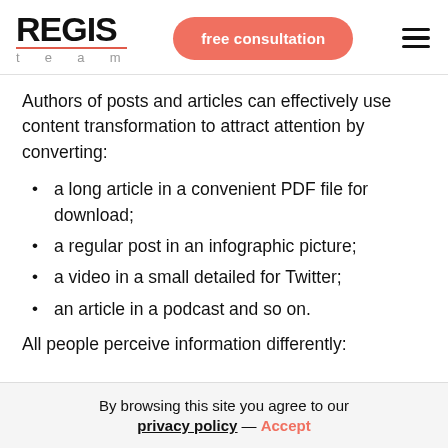REGIS team — free consultation
Authors of posts and articles can effectively use content transformation to attract attention by converting:
a long article in a convenient PDF file for download;
a regular post in an infographic picture;
a video in a small detailed for Twitter;
an article in a podcast and so on.
All people perceive information differently:
By browsing this site you agree to our privacy policy — Accept